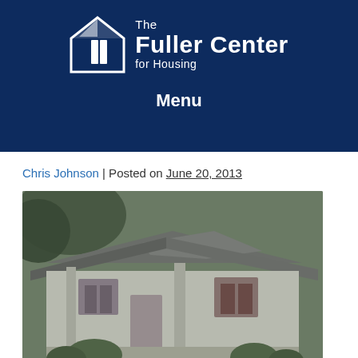[Figure (logo): The Fuller Center for Housing logo — white house/door icon on dark navy background with text 'The Fuller Center for Housing']
Menu
Chris Johnson | Posted on June 20, 2013
[Figure (photo): Blurry exterior photo of a small single-story residential house with a low-pitched roof, white siding, dark shutters, and shrubs in front, taken in a wooded area.]